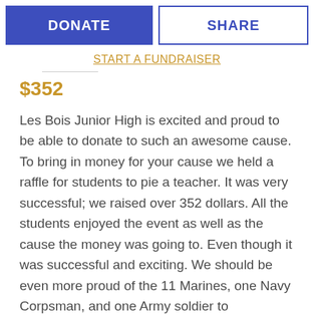DONATE
SHARE
START A FUNDRAISER
$352
Les Bois Junior High is excited and proud to be able to donate to such an awesome cause. To bring in money for your cause we held a raffle for students to pie a teacher. It was very successful; we raised over 352 dollars. All the students enjoyed the event as well as the cause the money was going to. Even though it was successful and exciting. We should be even more proud of the 11 Marines, one Navy Corpsman, and one Army soldier to commemorate their